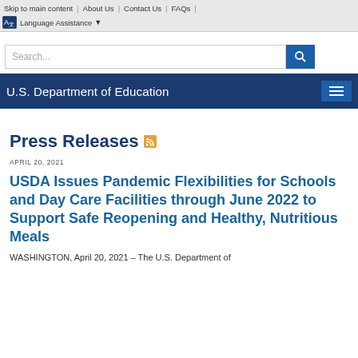Skip to main content | About Us | Contact Us | FAQs |
Language Assistance
[Figure (screenshot): Search bar with text field and blue search button]
U.S. Department of Education
Press Releases
APRIL 20, 2021
USDA Issues Pandemic Flexibilities for Schools and Day Care Facilities through June 2022 to Support Safe Reopening and Healthy, Nutritious Meals
WASHINGTON, April 20, 2021 – The U.S. Department of